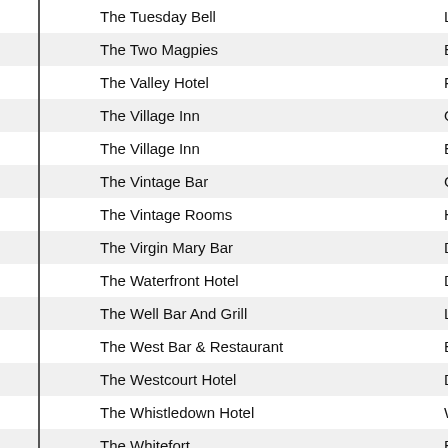| Name | Code |
| --- | --- |
| The Tuesday Bell | Li |
| The Two Magpies | B |
| The Valley Hotel | Fi |
| The Village Inn | O |
| The Village Inn | E |
| The Vintage Bar | C |
| The Vintage Rooms | H |
| The Virgin Mary Bar | D |
| The Waterfront Hotel | D |
| The Well Bar And Grill | Li |
| The West Bar & Restaurant | B |
| The Westcourt Hotel | D |
| The Whistledown Hotel | W |
| The Whitefort | B |
| The Whitehorse Inn | B. |
| The Wild Duck Inn | B. |
| The Workmans Club | D |
| The Wright Venue | S |